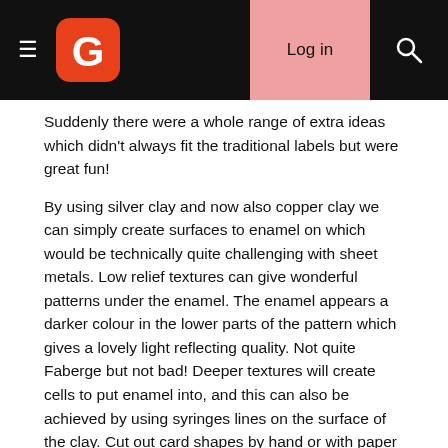Log in [search icon]
Suddenly there were a whole range of extra ideas which didn't always fit the traditional labels but were great fun!
By using silver clay and now also copper clay we can simply create surfaces to enamel on which would be technically quite challenging with sheet metals. Low relief textures can give wonderful patterns under the enamel. The enamel appears a darker colour in the lower parts of the pattern which gives a lovely light reflecting quality. Not quite Faberge but not bad! Deeper textures will create cells to put enamel into, and this can also be achieved by using syringes lines on the surface of the clay. Cut out card shapes by hand or with paper punches and use on top of a low relief texture or plain paper and roll the clay onto it to create recesses for enamel. Fine silver wires can be fused to the surface of fired silver pieces to create areas for enamelling.
I enamel because I love to add colour to my work. Real glass vitreous enamel has stood the test of time so I know it will last and it is a lovely thought that just maybe some of my pieces will still be